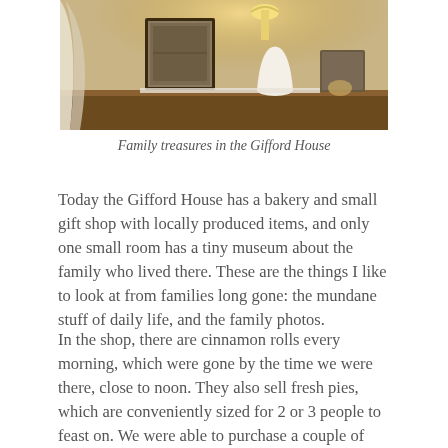[Figure (photo): Interior photograph of the Gifford House showing a shelf or table with framed pictures, a lamp, decorative items including what appears to be a vase or figurine, and lace or fabric items on a wooden surface against a warm-lit background.]
Family treasures in the Gifford House
Today the Gifford House has a bakery and small gift shop with locally produced items, and only one small room has a tiny museum about the family who lived there. These are the things I like to look at from families long gone: the mundane stuff of daily life, and the family photos.
In the shop, there are cinnamon rolls every morning, which were gone by the time we were there, close to noon. They also sell fresh pies, which are conveniently sized for 2 or 3 people to feast on. We were able to purchase a couple of those, one of which we devoured with our picnic lunch. We also loaded up on specialty food items, which are great for gifts and to have in our